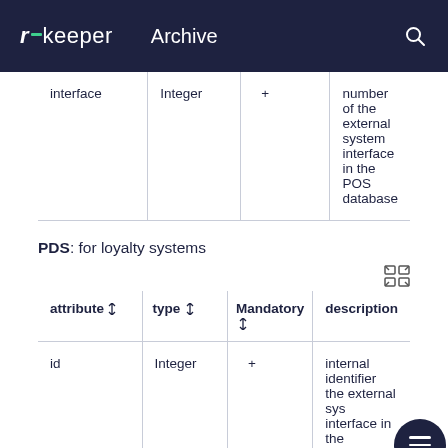r_keeper  Archive
| attribute | type | Mandatory | description |
| --- | --- | --- | --- |
| interface | Integer | + | number of the external system interface in the POS database |
PDS: for loyalty systems
| attribute | type | Mandatory | description |
| --- | --- | --- | --- |
| id | Integer | + | internal identifier the external system interface in the |